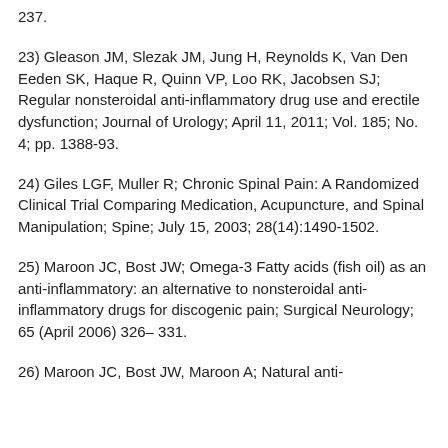237.
23) Gleason JM, Slezak JM, Jung H, Reynolds K, Van Den Eeden SK, Haque R, Quinn VP, Loo RK, Jacobsen SJ; Regular nonsteroidal anti-inflammatory drug use and erectile dysfunction; Journal of Urology; April 11, 2011; Vol. 185; No. 4; pp. 1388-93.
24) Giles LGF, Muller R; Chronic Spinal Pain: A Randomized Clinical Trial Comparing Medication, Acupuncture, and Spinal Manipulation; Spine; July 15, 2003; 28(14):1490-1502.
25) Maroon JC, Bost JW; Omega-3 Fatty acids (fish oil) as an anti-inflammatory: an alternative to nonsteroidal anti-inflammatory drugs for discogenic pain; Surgical Neurology; 65 (April 2006) 326– 331.
26) Maroon JC, Bost JW, Maroon A; Natural anti-